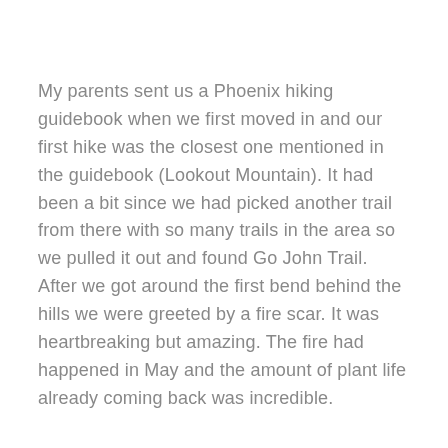My parents sent us a Phoenix hiking guidebook when we first moved in and our first hike was the closest one mentioned in the guidebook (Lookout Mountain). It had been a bit since we had picked another trail from there with so many trails in the area so we pulled it out and found Go John Trail. After we got around the first bend behind the hills we were greeted by a fire scar. It was heartbreaking but amazing. The fire had happened in May and the amount of plant life already coming back was incredible.